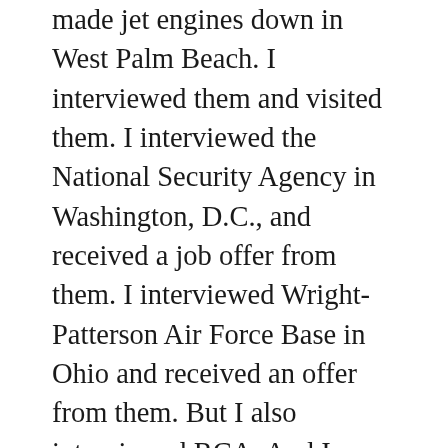made jet engines down in West Palm Beach. I interviewed them and visited them. I interviewed the National Security Agency in Washington, D.C., and received a job offer from them. I interviewed Wright-Patterson Air Force Base in Ohio and received an offer from them. But I also interviewed RCA. And I accepted a job with RCA primarily because, you see, a young fellow like me graduating from school with an EE degree … I was not a ham; I had no experience in electronics. The only thing I knew at that time about electronics came out of textbooks. And RCA came on the campus and